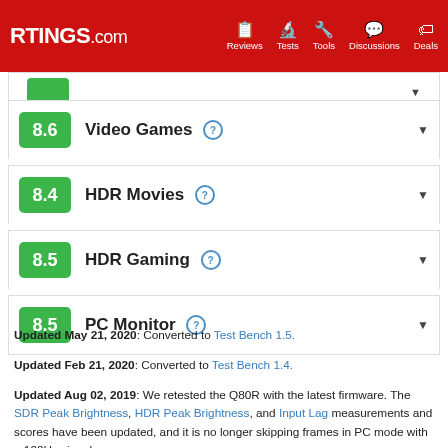RTINGS.com — Reviews, Tests, Tools, Discussions, Deals
8.6  Video Games
8.4  HDR Movies
8.5  HDR Gaming
8.5  PC Monitor
Updated May 21, 2020: Converted to Test Bench 1.5.
Updated Feb 21, 2020: Converted to Test Bench 1.4.
Updated Aug 02, 2019: We retested the Q80R with the latest firmware. The SDR Peak Brightness, HDR Peak Brightness, and Input Lag measurements and scores have been updated, and it is no longer skipping frames in PC mode with a 120Hz signal.
Updated May 16, 2019: Review published.
Updated May 14, 2019: Early access published.